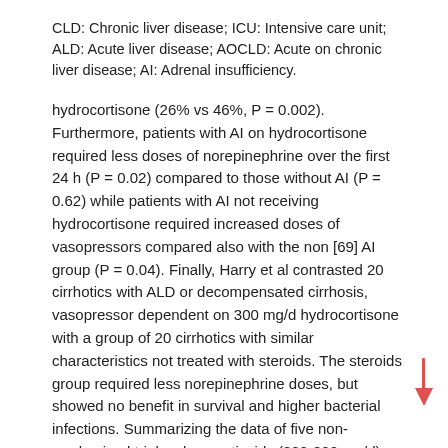CLD: Chronic liver disease; ICU: Intensive care unit; ALD: Acute liver disease; AOCLD: Acute on chronic liver disease; AI: Adrenal insufficiency.
hydrocortisone (26% vs 46%, P = 0.002). Furthermore, patients with AI on hydrocortisone required less doses of norepinephrine over the first 24 h (P = 0.02) compared to those without AI (P = 0.62) while patients with AI not receiving hydrocortisone required increased doses of vasopressors compared also with the non [69] AI group (P = 0.04). Finally, Harry et al contrasted 20 cirrhotics with ALD or decompensated cirrhosis, vasopressor dependent on 300 mg/d hydrocortisone with a group of 20 cirrhotics with similar characteristics not treated with steroids. The steroids group required less norepinephrine doses, but showed no benefit in survival and higher bacterial infections. Summarizing the data of five non-randomized trials, glucocorticoids (200-300 mg/d) were usually administered in vasopressor depended critically ill cirrhotics. In three studies, there was a temporary reduction of vasopressor doses in patients treated with steroids but mortality rates between those treated [6,49,69] and those